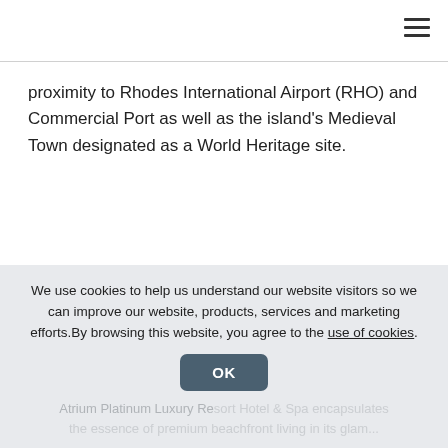proximity to Rhodes International Airport (RHO) and Commercial Port as well as the island's Medieval Town designated as a World Heritage site.
[Figure (other): Loading spinner / animated curve indicator, partially visible]
We use cookies to help us understand our website visitors so we can improve our website, products, services and marketing efforts.By browsing this website, you agree to the use of cookies.
OK
Atrium Platinum Luxury Resort Hotel & Spa encapsulates the essence of premium beachfront living in its glamorous...